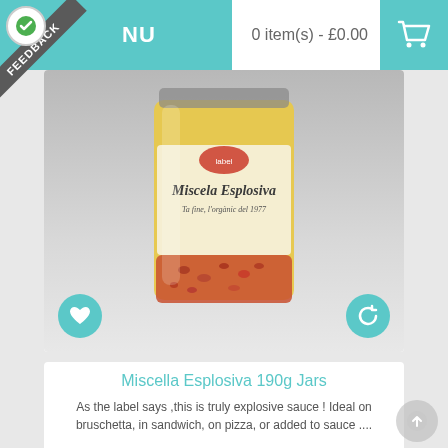MENU  |  0 item(s) - £0.00
[Figure (photo): A jar of Miscela Esplosiva hot sauce with yellow label showing 'Miscela Esplosiva' text, containing red chunky sauce visible through the glass at the bottom]
Miscella Esplosiva 190g Jars
As the label says ,this is truly explosive sauce ! Ideal on bruschetta, in sandwich, on pizza, or added to sauce ....
£3.80